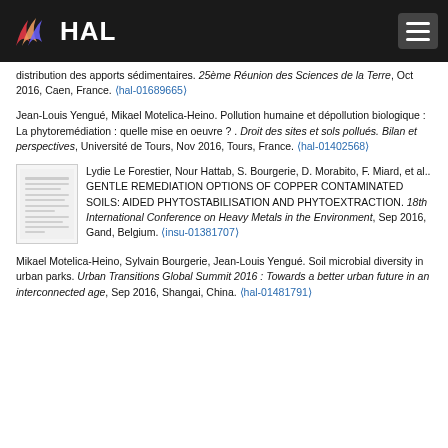HAL
distribution des apports sédimentaires. 25ème Réunion des Sciences de la Terre, Oct 2016, Caen, France. ⟨hal-01689665⟩
Jean-Louis Yengué, Mikael Motelica-Heino. Pollution humaine et dépollution biologique : La phytoremédiation : quelle mise en oeuvre ? . Droit des sites et sols pollués. Bilan et perspectives, Université de Tours, Nov 2016, Tours, France. ⟨hal-01402568⟩
[Figure (other): Thumbnail image of a document page showing text lines]
Lydie Le Forestier, Nour Hattab, S. Bourgerie, D. Morabito, F. Miard, et al.. GENTLE REMEDIATION OPTIONS OF COPPER CONTAMINATED SOILS: AIDED PHYTOSTABILISATION AND PHYTOEXTRACTION. 18th International Conference on Heavy Metals in the Environment, Sep 2016, Gand, Belgium. ⟨insu-01381707⟩
Mikael Motelica-Heino, Sylvain Bourgerie, Jean-Louis Yengué. Soil microbial diversity in urban parks. Urban Transitions Global Summit 2016 : Towards a better urban future in an interconnected age, Sep 2016, Shangai, China. ⟨hal-01481791⟩